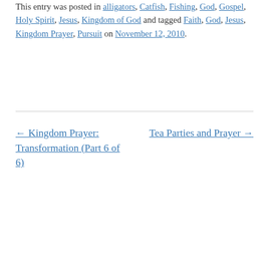This entry was posted in alligators, Catfish, Fishing, God, Gospel, Holy Spirit, Jesus, Kingdom of God and tagged Faith, God, Jesus, Kingdom Prayer, Pursuit on November 12, 2010.
← Kingdom Prayer: Transformation (Part 6 of 6)    Tea Parties and Prayer →